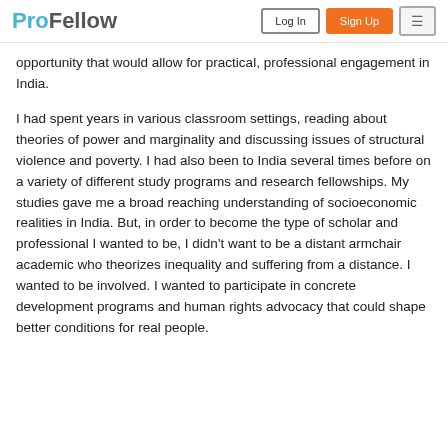ProFellow | Log In | Sign Up
opportunity that would allow for practical, professional engagement in India.
I had spent years in various classroom settings, reading about theories of power and marginality and discussing issues of structural violence and poverty. I had also been to India several times before on a variety of different study programs and research fellowships. My studies gave me a broad reaching understanding of socioeconomic realities in India. But, in order to become the type of scholar and professional I wanted to be, I didn't want to be a distant armchair academic who theorizes inequality and suffering from a distance. I wanted to be involved. I wanted to participate in concrete development programs and human rights advocacy that could shape better conditions for real people.